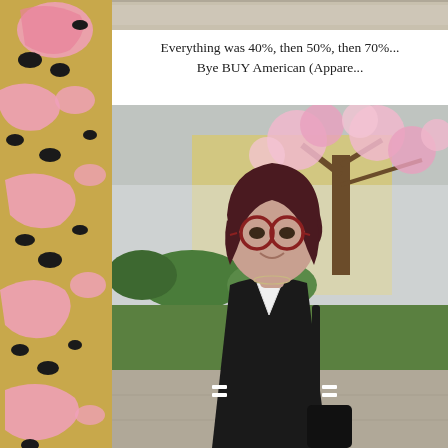[Figure (illustration): Left decorative strip with pink leopard/cheetah print pattern on golden/tan background with black spots and pink shapes]
[Figure (photo): Partial top strip of a photo, showing edge of what appears to be a beige/cream colored item]
Everything was 40%, then 50%, then 70%...
Bye BUY American (Appare...
[Figure (photo): Woman with short dark reddish-brown hair and red glasses, wearing a black v-neck shirt with white stripes on sleeves, smiling outdoors in front of a blooming pink cherry blossom tree and a yellow building, standing on a sidewalk with green lawn]